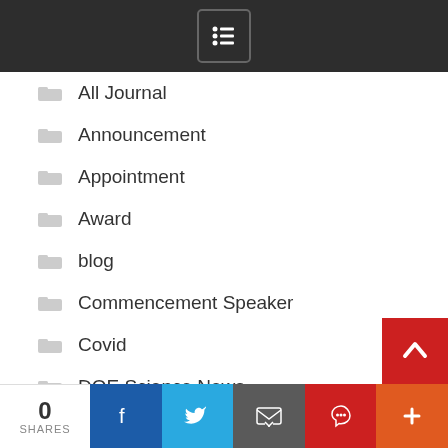[Figure (other): Dark top navigation bar with a bulleted list menu icon (hamburger/list icon in a rounded rectangle)]
All Journal
Announcement
Appointment
Award
blog
Commencement Speaker
Covid
DOE Science News
Expert Pitch
Fact Check
Feature
0 SHARES  [Facebook] [Twitter] [Email] [Pinterest] [More]